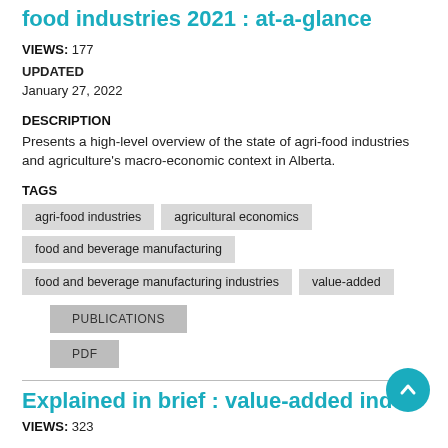food industries 2021 : at-a-glance
VIEWS: 177
UPDATED
January 27, 2022
DESCRIPTION
Presents a high-level overview of the state of agri-food industries and agriculture's macro-economic context in Alberta.
TAGS
agri-food industries
agricultural economics
food and beverage manufacturing
food and beverage manufacturing industries
value-added
PUBLICATIONS
PDF
Explained in brief : value-added industr
VIEWS: 323